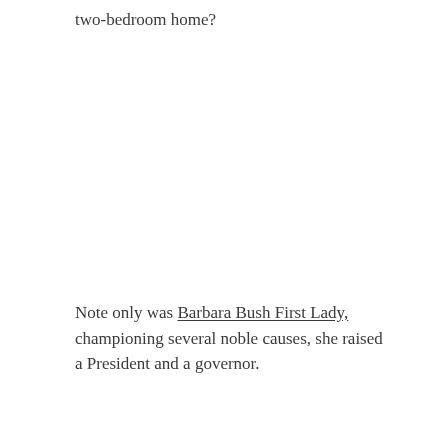two-bedroom home?
Note only was Barbara Bush First Lady, championing several noble causes, she raised a President and a governor.